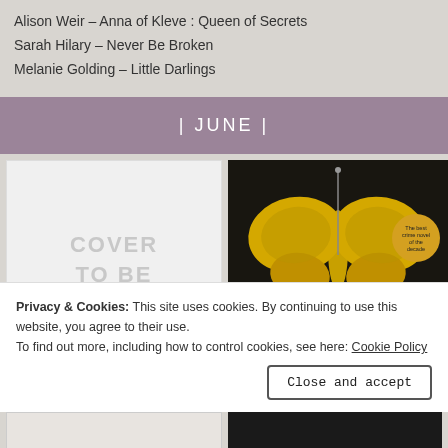Alison Weir – Anna of Kleve : Queen of Secrets
Sarah Hilary – Never Be Broken
Melanie Golding – Little Darlings
| JUNE |
[Figure (illustration): Placeholder book cover showing 'COVER TO BE' text in grey on white background]
[Figure (photo): Book cover for 'The Whispered' showing a gold/yellow butterfly or moth on dark background with badge text 'The best crime novel of the decade']
Privacy & Cookies: This site uses cookies. By continuing to use this website, you agree to their use.
To find out more, including how to control cookies, see here: Cookie Policy
Close and accept